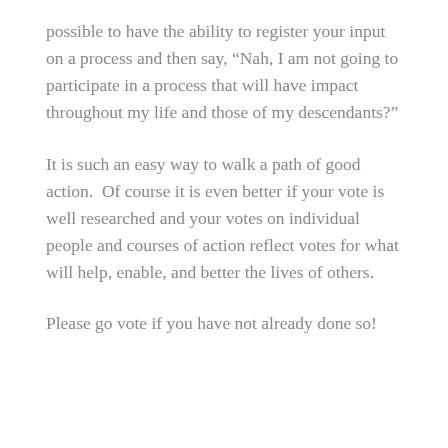possible to have the ability to register your input on a process and then say, “Nah, I am not going to participate in a process that will have impact throughout my life and those of my descendants?”
It is such an easy way to walk a path of good action. Of course it is even better if your vote is well researched and your votes on individual people and courses of action reflect votes for what will help, enable, and better the lives of others.
Please go vote if you have not already done so!